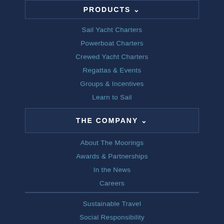PRODUCTS
Sail Yacht Charters
Powerboat Charters
Crewed Yacht Charters
Regattas & Events
Groups & Incentives
Learn to Sail
THE COMPANY
About The Moorings
Awards & Partnerships
In the News
Careers
Sustainable Travel
Social Responsibility
Media Contact